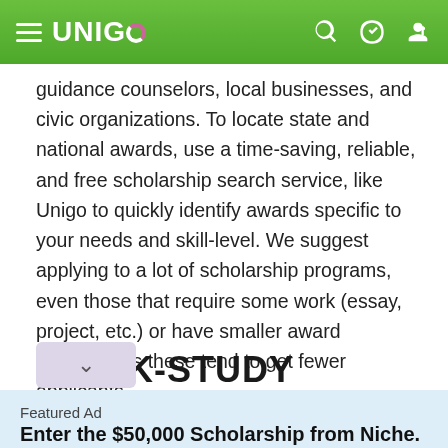UNIGO
guidance counselors, local businesses, and civic organizations. To locate state and national awards, use a time-saving, reliable, and free scholarship search service, like Unigo to quickly identify awards specific to your needs and skill-level. We suggest applying to a lot of scholarship programs, even those that require some work (essay, project, etc.) or have smaller award amounts, as these tend to get fewer applicants.
WORK-STUDY
Featured Ad
Enter the $50,000 Scholarship from Niche.
Last day to enter is August 31st
APPLY NOW!